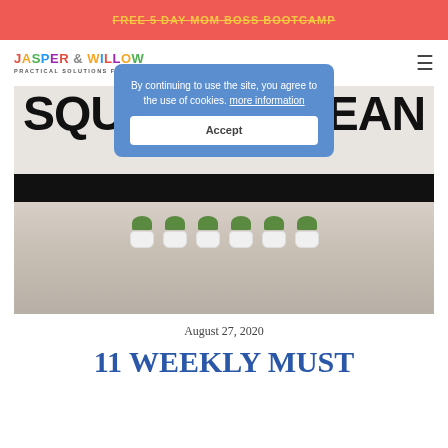FREE 5 DAY MOM BOSS BOOTCAMP
[Figure (logo): Jasper & Willow logo with colorful letters and subtitle 'PRACTICAL SOLUTIONS FOR BUSY MOMS']
[Figure (screenshot): Cookie consent overlay: 'By continuing to use the site, you agree to the use of cookies. more information' with Accept button]
[Figure (photo): Blog post hero image with large bold text 'SQUEAKY CLEAN' over a photo of a bright room with small white potted plants on a glass tray on a dining table]
August 27, 2020
11 WEEKLY MUST